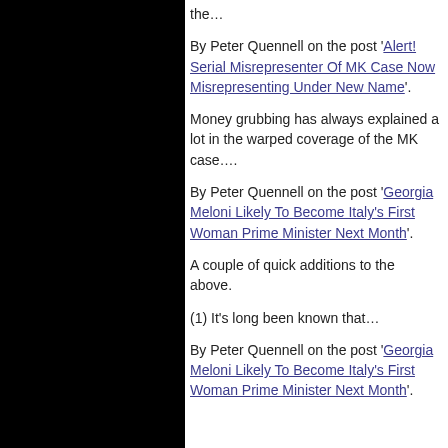the…
By Peter Quennell on the post 'Alert! Serial Misrepresenter Of MK Case Now Misrepresenting Under New Name'.
Money grubbing has always explained a lot in the warped coverage of the MK case….
By Peter Quennell on the post 'Georgia Meloni Likely To Become Italy's First Woman Prime Minister Next Month'.
A couple of quick additions to the above.
(1) It's long been known that…
By Peter Quennell on the post 'Georgia Meloni Likely To Become Italy's First Woman Prime Minister Next Month'.